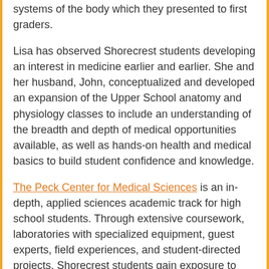systems of the body which they presented to first graders.
Lisa has observed Shorecrest students developing an interest in medicine earlier and earlier. She and her husband, John, conceptualized and developed an expansion of the Upper School anatomy and physiology classes to include an understanding of the breadth and depth of medical opportunities available, as well as hands-on health and medical basics to build student confidence and knowledge.
The Peck Center for Medical Sciences is an in-depth, applied sciences academic track for high school students. Through extensive coursework, laboratories with specialized equipment, guest experts, field experiences, and student-directed projects, Shorecrest students gain exposure to and expertise in a wide range of topics in applied medical science. Chargers in